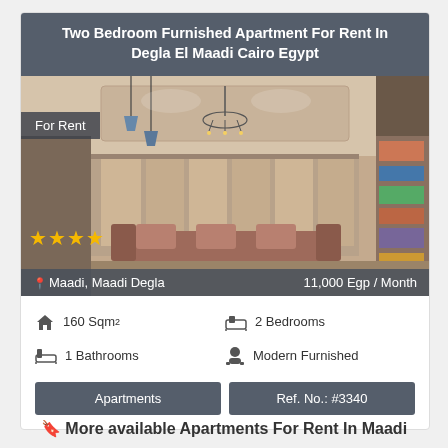Two Bedroom Furnished Apartment For Rent In Degla El Maadi Cairo Egypt
[Figure (photo): Interior photo of a furnished living room with chandelier, curtains, and warm lighting. Overlay badge 'For Rent', 4 gold stars, location 'Maadi, Maadi Degla', price '11,000 Egp / Month']
160 Sqm²
2 Bedrooms
1 Bathrooms
Modern Furnished
Apartments
Ref. No.: #3340
🔖 More available Apartments For Rent In Maadi